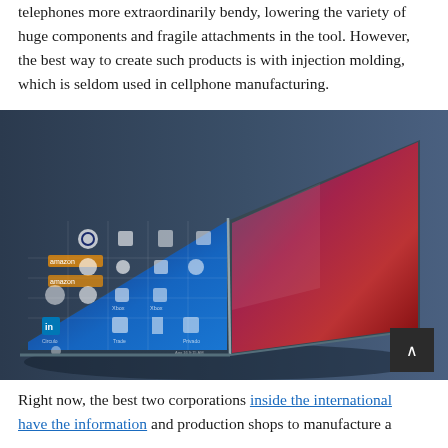telephones more extraordinarily bendy, lowering the variety of huge components and fragile attachments in the tool. However, the best way to create such products is with injection molding, which is seldom used in cellphone manufacturing.
[Figure (photo): A foldable smartphone shown partially open, tent-style, displaying a blue app grid interface on the inner screen. The device has a dark blue/grey finish. A dark scroll-to-top button with an up-arrow chevron is visible in the lower right corner.]
Right now, the best two corporations inside the international have the information and production shops to manufacture a